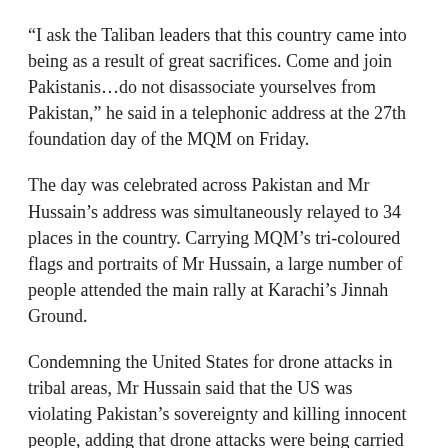“I ask the Taliban leaders that this country came into being as a result of great sacrifices. Come and join Pakistanis…do not disassociate yourselves from Pakistan,” he said in a telephonic address at the 27th foundation day of the MQM on Friday.
The day was celebrated across Pakistan and Mr Hussain’s address was simultaneously relayed to 34 places in the country. Carrying MQM’s tri-coloured flags and portraits of Mr Hussain, a large number of people attended the main rally at Karachi’s Jinnah Ground.
Condemning the United States for drone attacks in tribal areas, Mr Hussain said that the US was violating Pakistan’s sovereignty and killing innocent people, adding that drone attacks were being carried out in clear violation of the UN charter.
He assured the government and the armed forces that every